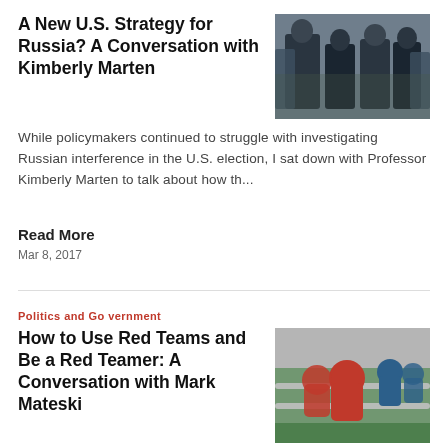A New U.S. Strategy for Russia? A Conversation with Kimberly Marten
[Figure (photo): Photo of people in military uniforms, appears to show a political or military figure surrounded by others]
While policymakers continued to struggle with investigating Russian interference in the U.S. election, I sat down with Professor Kimberly Marten to talk about how th...
Read More
Mar 8, 2017
Politics and Government
How to Use Red Teams and Be a Red Teamer: A Conversation with Mark Mateski
[Figure (photo): Photo of red and blue foosball player figurines on a foosball table]